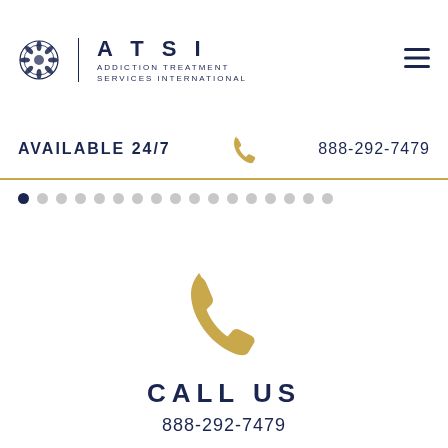[Figure (logo): ATSI Addiction Treatment Services International logo with decorative emblem, vertical divider, and text]
AVAILABLE 24/7   888-292-7479
[Figure (other): Navigation dots carousel indicator — one filled dark dot and 16 gray dots]
[Figure (other): Large gold telephone handset icon]
CALL US
888-292-7479